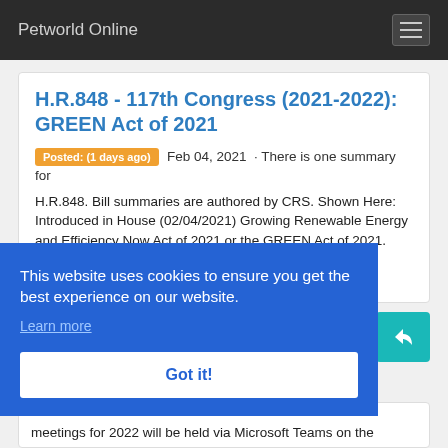Petworld Online
H.R.848 - 117th Congress (2021-2022): GREEN Act of 2021
Posted: (1 days ago) Feb 04, 2021 · There is one summary for H.R.848. Bill summaries are authored by CRS. Shown Here: Introduced in House (02/04/2021) Growing Renewable Energy and Efficiency Now Act of 2021 or the GREEN Act of 2021. This bill provides tax incentives for investment in ...ams.
This website uses cookies to ensure you get the best experience on our website.
Learn more
Got it!
meetings for 2022 will be held via Microsoft Teams on the